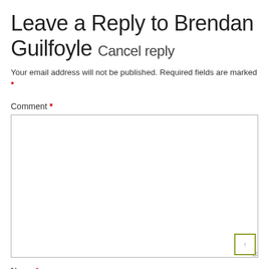Leave a Reply to Brendan Guilfoyle Cancel reply
Your email address will not be published. Required fields are marked *
Comment *
[Figure (other): Comment text area input box with a scroll indicator in bottom-right corner (olive/green bordered square with up arrow)]
Name *
[Figure (other): Name text input field, empty, with gray border]